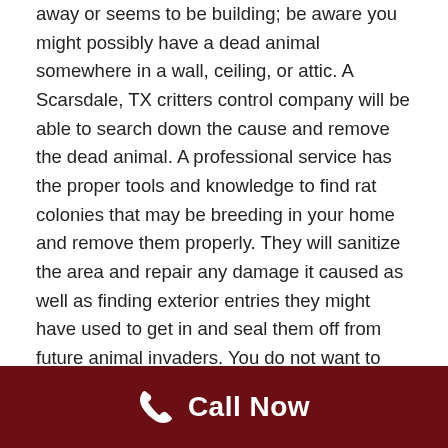away or seems to be building; be aware you might possibly have a dead animal somewhere in a wall, ceiling, or attic. A Scarsdale, TX critters control company will be able to search down the cause and remove the dead animal. A professional service has the proper tools and knowledge to find rat colonies that may be breeding in your home and remove them properly. They will sanitize the area and repair any damage it caused as well as finding exterior entries they might have used to get in and seal them off from future animal invaders. You do not want to take a chance having dead and decaying animals in your home's interior, this could cause illness for humans and domestic pets. You should always seek out the help of wild animal control if you suspect there could be a dead animal somewhere in your home. Avoid using poisons on rodent populations or you could end up with dead animals
Call Now